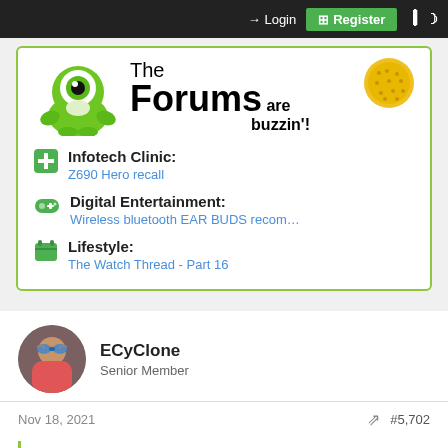Login | Register
[Figure (illustration): The Forums are buzzin'! banner with green mascot character and speech bubble]
Infotech Clinic: Z690 Hero recall
Digital Entertainment: Wireless bluetooth EAR BUDS recom…
Lifestyle: The Watch Thread - Part 16
ECyClone
Senior Member
Nov 18, 2021  #5,702
ridiculous? said: